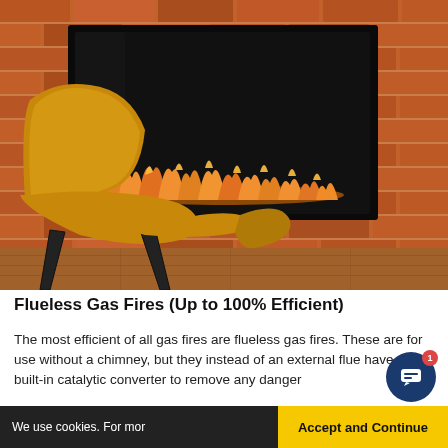[Figure (photo): A wall-mounted flueless gas fireplace with black surround showing orange flames at the bottom, mounted on a red brick wall. A wooden mid-century modern lounge chair with black metal legs is visible in the foreground left. Wooden floor visible at the bottom.]
Flueless Gas Fires (Up to 100% Efficient)
The most efficient of all gas fires are flueless gas fires. These are for use without a chimney, but they instead of an external flue have a built-in catalytic converter to remove any dangerous
We use cookies. For mor    Accept and Continue